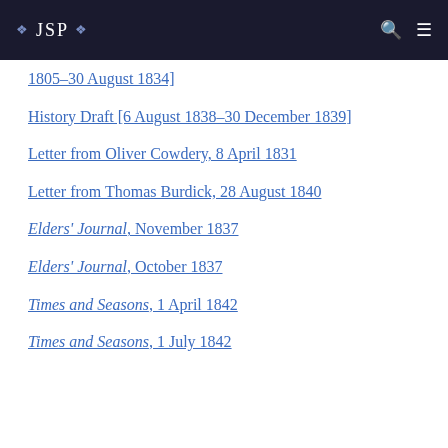JSP
1805–30 August 1834]
History Draft [6 August 1838–30 December 1839]
Letter from Oliver Cowdery, 8 April 1831
Letter from Thomas Burdick, 28 August 1840
Elders' Journal, November 1837
Elders' Journal, October 1837
Times and Seasons, 1 April 1842
Times and Seasons, 1 July 1842